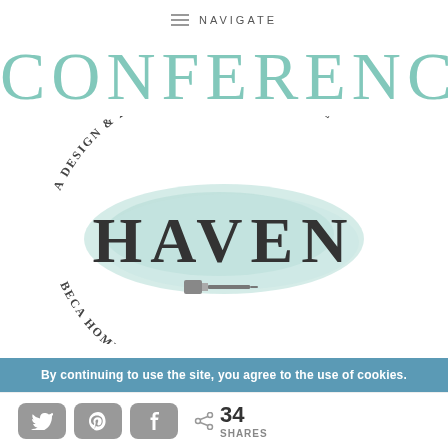NAVIGATE
CONFERENCE
[Figure (logo): Haven Conference logo — a watercolor teal blob with arced text 'A DESIGN & DIY BLOGGING CONFERENCE' on top, 'HAVEN' in large bold serif letters in the center, a paintbrush icon below, and partial text 'BECA... HOME' on the bottom arc.]
By continuing to use the site, you agree to the use of cookies.
34 SHARES